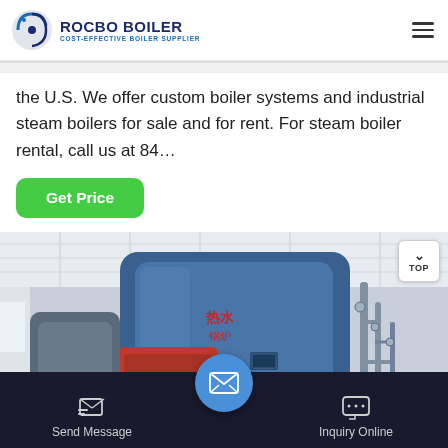[Figure (logo): Rocbo Boiler logo with circular emblem and text 'ROCBO BOILER - COST-EFFECTIVE BOILER SUPPLIER']
the U.S. We offer custom boiler systems and industrial steam boilers for sale and for rent. For steam boiler rental, call us at 84…
Get Price
[Figure (photo): Industrial steam boiler in a factory setting — large blue cylindrical boiler unit with red burner components and piping, indoors with white ceiling]
Send Message
Inquiry Online